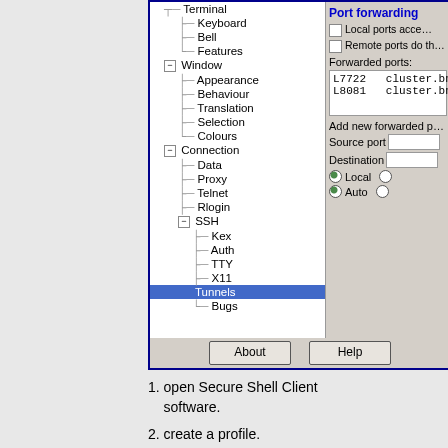[Figure (screenshot): PuTTY configuration dialog showing tree navigation panel on left with items: Keyboard, Bell, Features, Window (expanded with Appearance, Behaviour, Translation, Selection, Colours), Connection (expanded with Data, Proxy, Telnet, Rlogin, SSH expanded with Kex, Auth, TTY, X11, Tunnels (selected/highlighted), Bugs). Right panel shows SSH Tunnels options: Port forwarding section with checkboxes for local ports and remote ports, Forwarded ports list showing L7722 cluster.bn and L8081 cluster.bn, Add new forwarded port section with Source port and Destination fields, Local and Auto radio buttons. Bottom has About and Help buttons.]
1. open Secure Shell Client software.
2. create a profile.